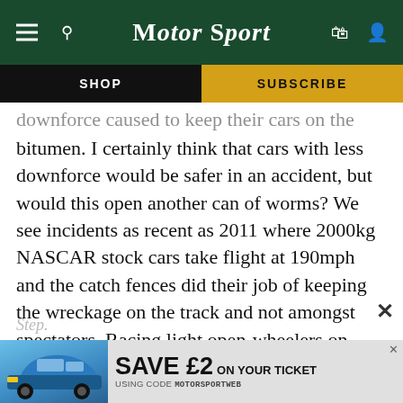MotorSport
SHOP
SUBSCRIBE
bitumen. I certainly think that cars with less downforce would be safer in an accident, but would this open another can of worms? We see incidents as recent as 2011 where 2000kg NASCAR stock cars take flight at 190mph and the catch fences did their job of keeping the wreckage on the track and not amongst spectators. Racing light open-wheelers on banked ovals is a recipe for further disaster under current IndyCar design rules.
[Figure (screenshot): Advertisement banner: light blue Porsche 911 image on left, text reading SAVE £2 ON YOUR TICKET USING CODE MOTORSPORTWEB on right]